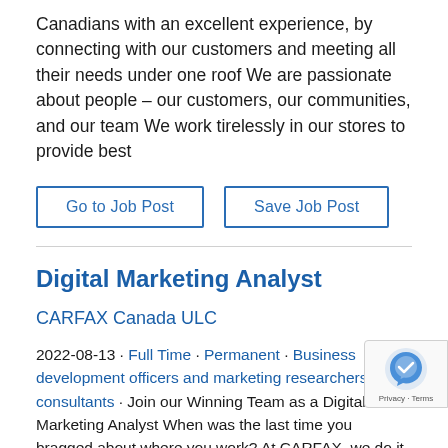Canadians with an excellent experience, by connecting with our customers and meeting all their needs under one roof We are passionate about people – our customers, our communities, and our team We work tirelessly in our stores to provide best
Go to Job Post
Save Job Post
Digital Marketing Analyst
CARFAX Canada ULC
2022-08-13 · Full Time · Permanent · Business development officers and marketing researchers and consultants · Join our Winning Team as a Digital Marketing Analyst When was the last time you bragged about where you work? At CARFAX, we do it every day. Why? Because we're proud to work for a company with a strong mission and trusted brand. We're proud to work with people who care about